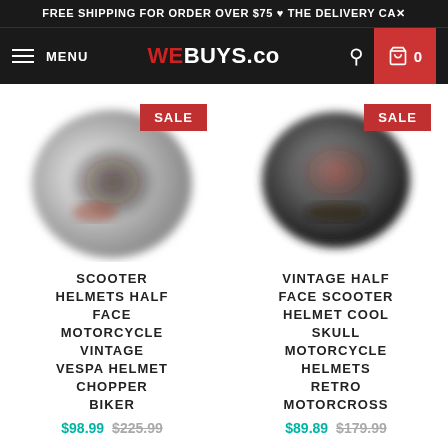FREE SHIPPING FOR ORDER OVER $75 ♥ THE DELIVERY CAX
MENU | WEBUYS.co | 🔍 | 🛒 0
[Figure (photo): Scooter half face motorcycle vintage helmet product photo with SALE badge]
SCOOTER HELMETS HALF FACE MOTORCYCLE VINTAGE VESPA HELMET CHOPPER BIKER
$98.99 $225.99
[Figure (photo): Vintage half face scooter helmet cool skull motorcycle product photo with SALE badge]
VINTAGE HALF FACE SCOOTER HELMET COOL SKULL MOTORCYCLE HELMETS RETRO MOTORCROSS
$89.89 $179.99